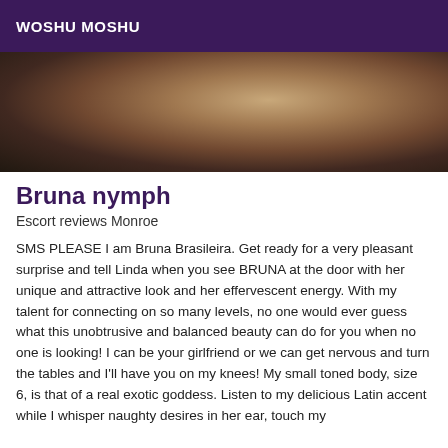WOSHU MOSHU
[Figure (photo): Close-up photo of a person, partially cropped, dark background]
Bruna nymph
Escort reviews Monroe
SMS PLEASE I am Bruna Brasileira. Get ready for a very pleasant surprise and tell Linda when you see BRUNA at the door with her unique and attractive look and her effervescent energy. With my talent for connecting on so many levels, no one would ever guess what this unobtrusive and balanced beauty can do for you when no one is looking! I can be your girlfriend or we can get nervous and turn the tables and I'll have you on my knees! My small toned body, size 6, is that of a real exotic goddess. Listen to my delicious Latin accent while I whisper naughty desires in her ear, touch my